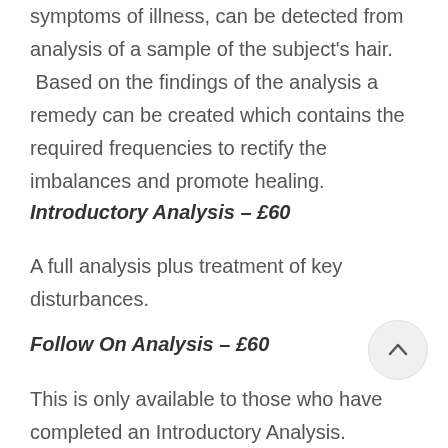symptoms of illness, can be detected from analysis of a sample of the subject's hair. Based on the findings of the analysis a remedy can be created which contains the required frequencies to rectify the imbalances and promote healing.
Introductory Analysis – £60
A full analysis plus treatment of key disturbances.
Follow On Analysis –  £60
This is only available to those who have completed an Introductory Analysis.  Analysis is